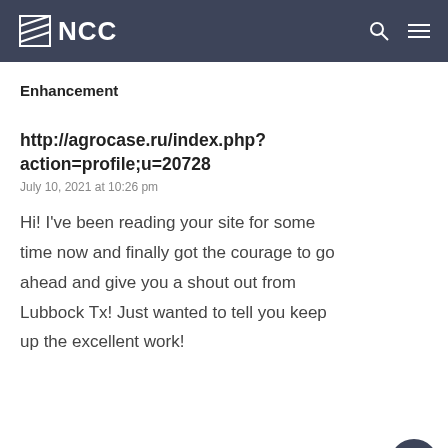NCC
Enhancement
http://agrocase.ru/index.php?action=profile;u=20728
July 10, 2021 at 10:26 pm
Hi! I've been reading your site for some time now and finally got the courage to go ahead and give you a shout out from Lubbock Tx! Just wanted to tell you keep up the excellent work!